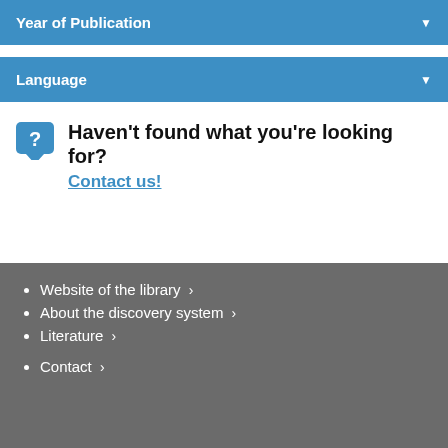Year of Publication
Language
Haven't found what you're looking for? Contact us!
Website of the library >
About the discovery system >
Literature >
Contact >